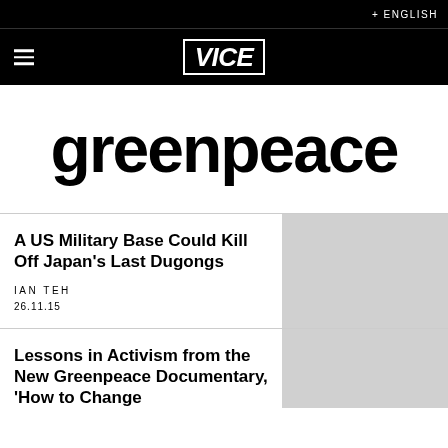+ ENGLISH
[Figure (logo): VICE logo in white on black background with hamburger menu icon]
greenpeace
A US Military Base Could Kill Off Japan's Last Dugongs
IAN TEH
26.11.15
Lessons in Activism from the New Greenpeace Documentary, 'How to Change